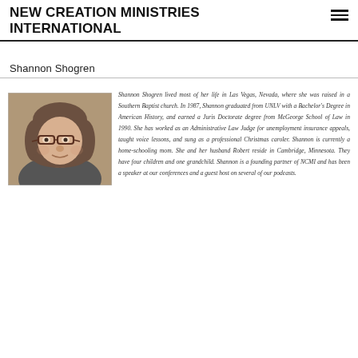NEW CREATION MINISTRIES INTERNATIONAL
Shannon Shogren
[Figure (photo): Portrait photo of Shannon Shogren, a woman with shoulder-length wavy brown-gray hair and glasses, smiling slightly]
Shannon Shogren lived most of her life in Las Vegas, Nevada, where she was raised in a Southern Baptist church. In 1987, Shannon graduated from UNLV with a Bachelor's Degree in American History, and earned a Juris Doctorate degree from McGeorge School of Law in 1990. She has worked as an Administrative Law Judge for unemployment insurance appeals, taught voice lessons, and sung as a professional Christmas caroler. Shannon is currently a home-schooling mom. She and her husband Robert reside in Cambridge, Minnesota. They have four children and one grandchild. Shannon is a founding partner of NCMI and has been a speaker at our conferences and a guest host on several of our podcasts.